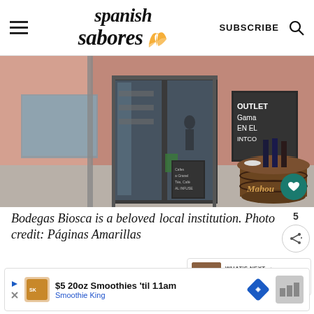spanish sabores | SUBSCRIBE
[Figure (photo): Exterior of Bodegas Biosca wine shop, showing facade with open door, wine barrel used as table outside, and chalkboard sign reading 'OUTLET Gama EN EL INTCO']
Bodegas Biosca is a beloved local institution. Photo credit: Páginas Amarillas
WHAT'S NEXT → 6 Wine Bars in Malaga You...
$5 20oz Smoothies 'til 11am
Smoothie King